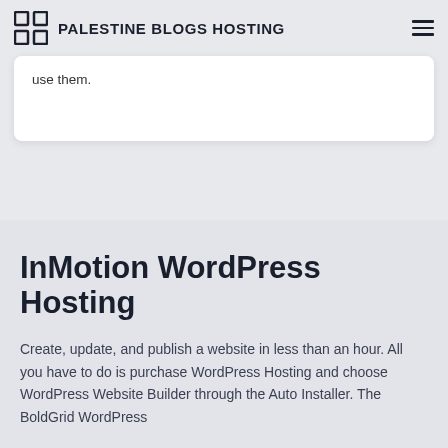PALESTINE BLOGS HOSTING
use them.
InMotion WordPress Hosting
Create, update, and publish a website in less than an hour. All you have to do is purchase WordPress Hosting and choose WordPress Website Builder through the Auto Installer. The BoldGrid WordPress